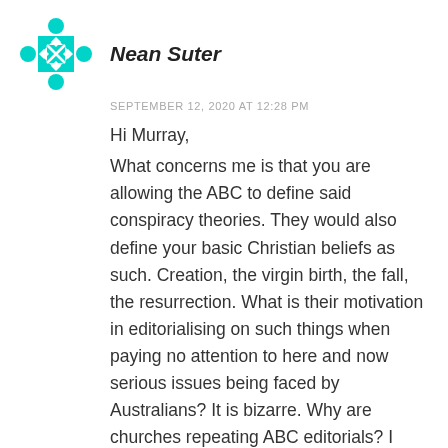[Figure (illustration): Teal/cyan geometric avatar icon with diamond and circular pattern]
Nean Suter
SEPTEMBER 12, 2020 AT 12:28 PM
Hi Murray,
What concerns me is that you are allowing the ABC to define said conspiracy theories. They would also define your basic Christian beliefs as such. Creation, the virgin birth, the fall, the resurrection. What is their motivation in editorialising on such things when paying no attention to here and now serious issues being faced by Australians? It is bizarre. Why are churches repeating ABC editorials? I really don't understand.